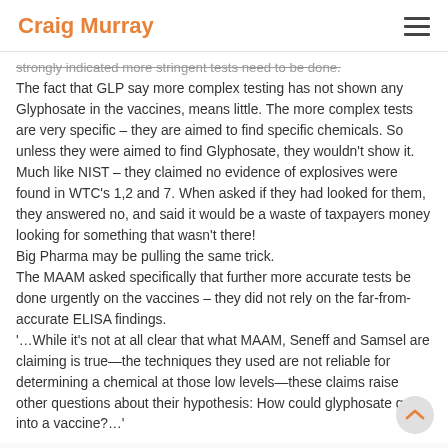Craig Murray
strongly indicated more stringent tests need to be done.
The fact that GLP say more complex testing has not shown any Glyphosate in the vaccines, means little. The more complex tests are very specific – they are aimed to find specific chemicals. So unless they were aimed to find Glyphosate, they wouldn't show it. Much like NIST – they claimed no evidence of explosives were found in WTC's 1,2 and 7. When asked if they had looked for them, they answered no, and said it would be a waste of taxpayers money looking for something that wasn't there!
Big Pharma may be pulling the same trick.
The MAAM asked specifically that further more accurate tests be done urgently on the vaccines – they did not rely on the far-from-accurate ELISA findings.
'…While it's not at all clear that what MAAM, Seneff and Samsel are claiming is true—the techniques they used are not reliable for determining a chemical at those low levels—these claims raise other questions about their hypothesis: How could glyphosate get into a vaccine?…'